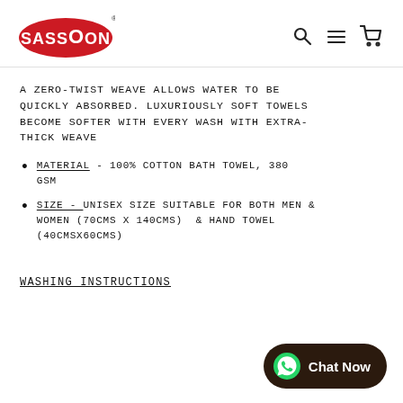SASSOON logo and navigation icons (search, menu, cart)
A ZERO-TWIST WEAVE ALLOWS WATER TO BE QUICKLY ABSORBED. LUXURIOUSLY SOFT TOWELS BECOME SOFTER WITH EVERY WASH WITH EXTRA-THICK WEAVE
MATERIAL - 100% COTTON BATH TOWEL, 380 GSM
SIZE - UNISEX SIZE SUITABLE FOR BOTH MEN & WOMEN (70CMS X 140CMS) & HAND TOWEL (40CMSX60CMS)
WASHING INSTRUCTIONS
[Figure (other): WhatsApp Chat Now button in dark brown rounded rectangle]